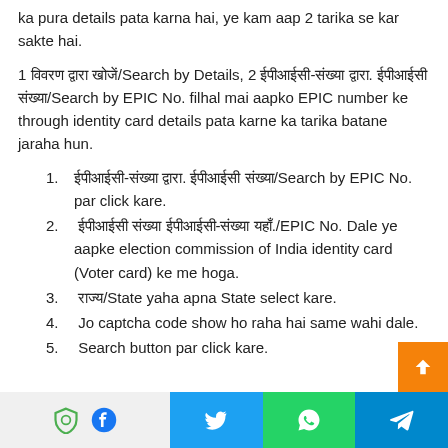ka pura details pata karna hai, ye kam aap 2 tarika se kar sakte hai.
1 विवरण द्वारा खोजें/Search by Details, 2 ईपीआईसी-संख्या द्वारा. ईपीआईसी संख्या/Search by EPIC No. filhal mai aapko EPIC number ke through identity card details pata karne ka tarika batane jaraha hun.
ईपीआईसी-संख्या द्वारा. ईपीआईसी संख्या/Search by EPIC No. par click kare.
ईपीआईसी संख्या ईपीआईसी-संख्या यहाँ./EPIC No. Dale ye aapke election commission of India identity card (Voter card) ke me hoga.
राज्य/State yaha apna State select kare.
Jo captcha code show ho raha hai same wahi dale.
Search button par click kare.
Social share bar: shield, Facebook, Twitter, WhatsApp, Telegram